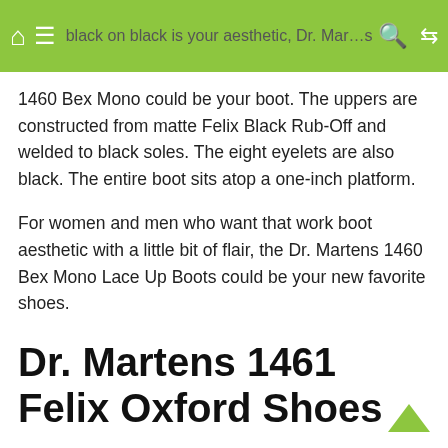black on black is your aesthetic, Dr. Martens 1460 Bex Mono could be your boot.
1460 Bex Mono could be your boot. The uppers are constructed from matte Felix Black Rub-Off and welded to black soles. The eight eyelets are also black. The entire boot sits atop a one-inch platform.
For women and men who want that work boot aesthetic with a little bit of flair, the Dr. Martens 1460 Bex Mono Lace Up Boots could be your new favorite shoes.
Dr. Martens 1461 Felix Oxford Shoes